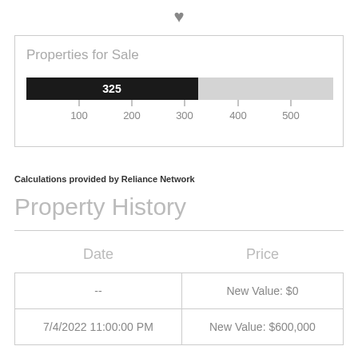[Figure (bar-chart): Properties for Sale]
Calculations provided by Reliance Network
Property History
| Date | Price |
| --- | --- |
| -- | New Value: $0 |
| 7/4/2022 11:00:00 PM | New Value: $600,000 |